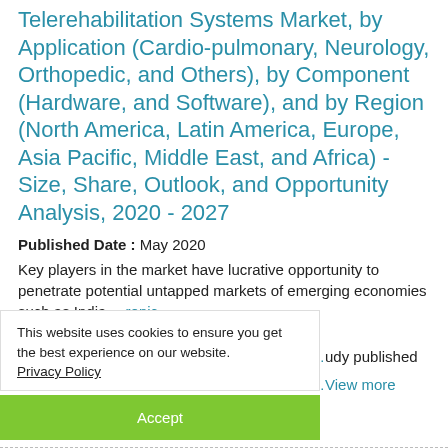Telerehabilitation Systems Market, by Application (Cardio-pulmonary, Neurology, Orthopedic, and Others), by Component (Hardware, and Software), and by Region (North America, Latin America, Europe, Asia Pacific, Middle East, and Africa) - Size, Share, Outlook, and Opportunity Analysis, 2020 - 2027
Published Date : May 2020
Key players in the market have lucrative opportunity to penetrate potential untapped markets of emerging economies such as India …ronic …according to a study published in Journal of C… View more
This website uses cookies to ensure you get the best experience on our website. Privacy Policy